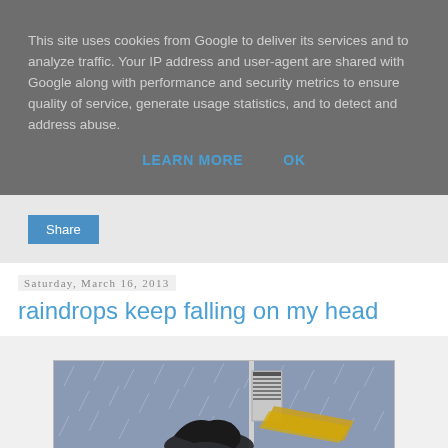This site uses cookies from Google to deliver its services and to analyze traffic. Your IP address and user-agent are shared with Google along with performance and security metrics to ensure quality of service, generate usage statistics, and to detect and address abuse.
LEARN MORE    OK
Share
Saturday, March 16, 2013
raindrops keep falling on my head
[Figure (illustration): Illustration of a rainy scene with a figure under rain, street sign pole, and rain streaks on a grey/blue background]